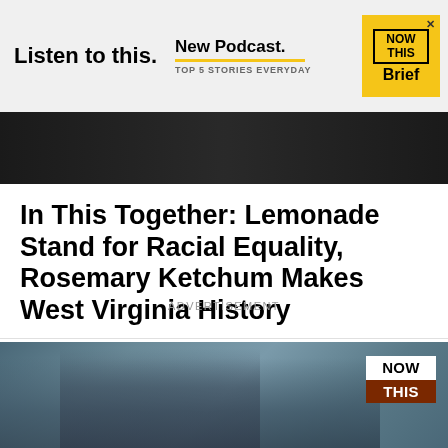[Figure (screenshot): Advertisement banner: 'Listen to this. New Podcast. TOP 5 STORIES EVERYDAY' with NowThis Brief logo in yellow]
[Figure (photo): Dark banner strip showing partial image at top of article]
In This Together: Lemonade Stand for Racial Equality, Rosemary Ketchum Makes West Virginia History
ADVERTISEMENT
[Figure (photo): Photo of a smiling person with a football player wearing a San Francisco 49ers helmet; NowThis logo overlay in bottom right]